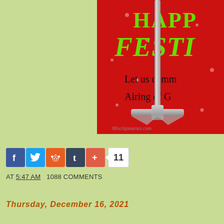[Figure (illustration): Partial view of a holiday Festivus card on a red background showing 'HAPP' (Happy) and 'FESTI' (Festivus) in green text, 'Let us comm' and 'Airing of G' text, with a metal Festivus pole at the bottom with a cross base. Watermark reads mischipmartez.com.]
[Figure (infographic): Social sharing buttons: Facebook (blue), Twitter (blue), Reddit (orange), Tumblr (dark blue), Plus (red-orange), and a count bubble showing 11]
AT 5:47 AM   1088 COMMENTS
Thursday, December 16, 2021